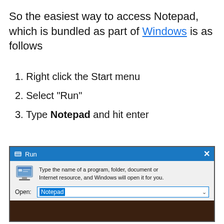So the easiest way to access Notepad, which is bundled as part of Windows is as follows
1. Right click the Start menu
2. Select "Run"
3. Type Notepad and hit enter
[Figure (screenshot): Windows Run dialog box with 'Notepad' typed in the Open field]